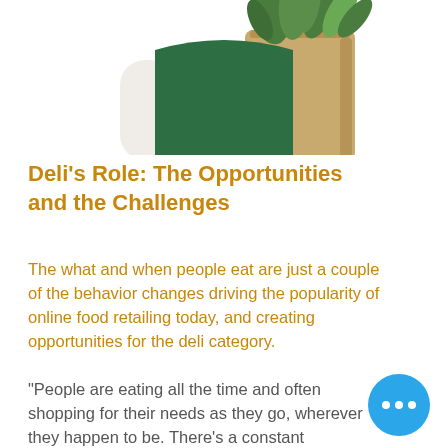[Figure (photo): A person wearing a green apron and white long-sleeve shirt, holding a paper grocery bag filled with fresh green herbs/produce, photographed from neck to waist against a white background.]
Deli's Role: The Opportunities and the Challenges
The what and when people eat are just a couple of the behavior changes driving the popularity of online food retailing today, and creating opportunities for the deli category.
“People are eating all the time and often shopping for their needs as they go, wherever they happen to be. There’s a constant shopping process,